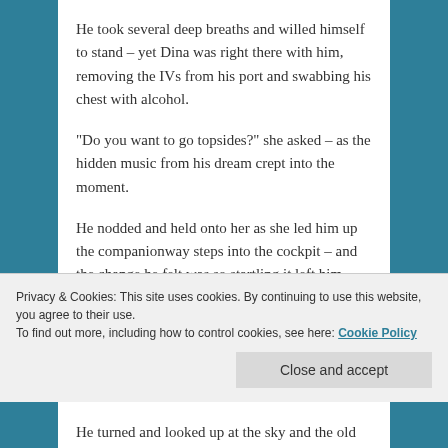He took several deep breaths and willed himself to stand – yet Dina was right there with him, removing the IVs from his port and swabbing his chest with alcohol.
“Do you want to go topsides?” she asked – as the hidden music from his dream crept into the moment.
He nodded and held onto her as she led him up the companionway steps into the cockpit – and the change he felt was so startling it left him feeling breathless.
Time Bandits was no longer a creature of the open ocean; here she was, now – bound to the earth in
Privacy & Cookies: This site uses cookies. By continuing to use this website, you agree to their use.
To find out more, including how to control cookies, see here: Cookie Policy
He turned and looked up at the sky and the old